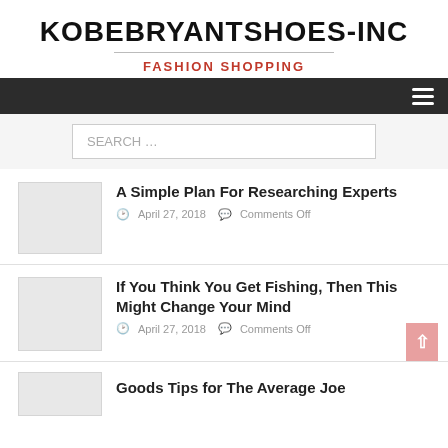KOBEBRYANTSHOES-INC
FASHION SHOPPING
A Simple Plan For Researching Experts
April 27, 2018   Comments Off
If You Think You Get Fishing, Then This Might Change Your Mind
April 27, 2018   Comments Off
Goods Tips for The Average Joe